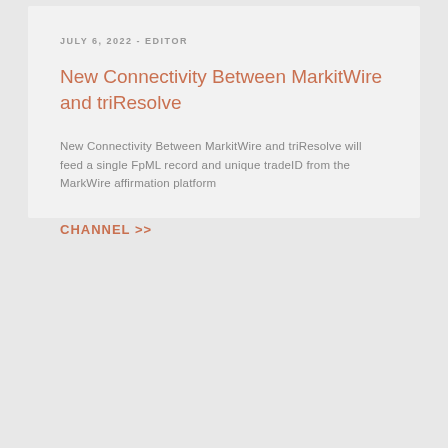JULY 6, 2022 - EDITOR
New Connectivity Between MarkitWire and triResolve
New Connectivity Between MarkitWire and triResolve will feed a single FpML record and unique tradeID from the MarkWire affirmation platform
CHANNEL >>